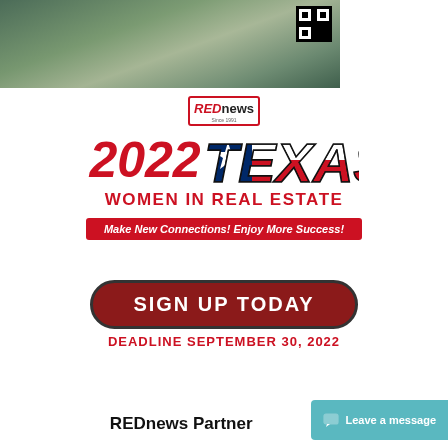[Figure (photo): Aerial/street view photo of a real estate development or commercial property with greenery and a QR code in the top right corner]
REDnews 2022 TEXAS WOMEN IN REAL ESTATE
Make New Connections! Enjoy More Success!
SIGN UP TODAY
DEADLINE SEPTEMBER 30, 2022
REDnews Partner